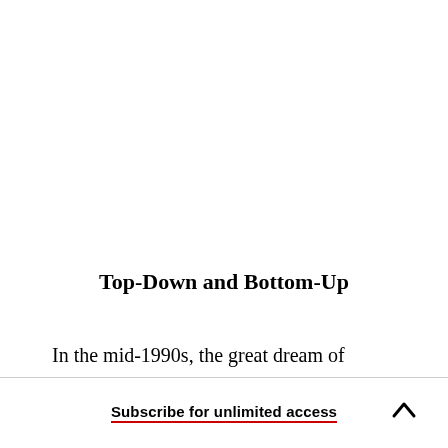Top-Down and Bottom-Up
In the mid-1990s, the great dream of Internet entrepreneurs was to create the entry point on the
Subscribe for unlimited access